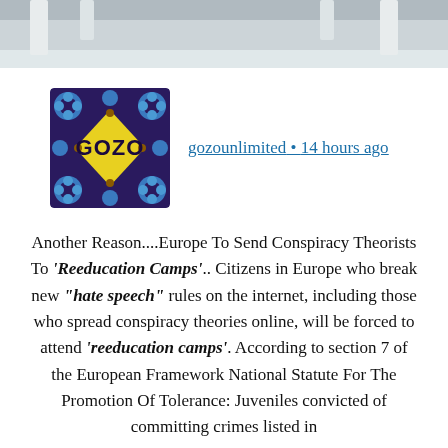[Figure (photo): Top portion of page showing a blurred/cropped photo with light grey-white tones, appears to be an indoor scene]
[Figure (logo): GOZO logo - a colorful square tile design with blue arabesque patterns on a dark purple background, with a yellow diamond shape in the center containing the word GOZO in dark letters]
gozounlimited • 14 hours ago
Another Reason....Europe To Send Conspiracy Theorists To 'Reeducation Camps'.. Citizens in Europe who break new "hate speech" rules on the internet, including those who spread conspiracy theories online, will be forced to attend 'reeducation camps'. According to section 7 of the European Framework National Statute For The Promotion Of Tolerance: Juveniles convicted of committing crimes listed in